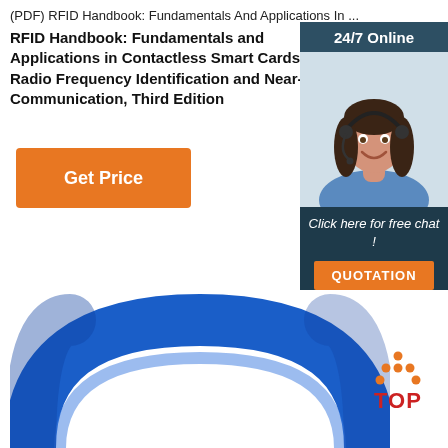(PDF) RFID Handbook: Fundamentals And Applications In ...
RFID Handbook: Fundamentals and Applications in Contactless Smart Cards, Radio Frequency Identification and Near-Field Communication, Third Edition
[Figure (other): Orange 'Get Price' button]
[Figure (infographic): Sidebar advertisement with '24/7 Online' header, photo of woman with headset, 'Click here for free chat!' text, and orange QUOTATION button]
[Figure (photo): Blue RFID wristband/ring at bottom of page]
[Figure (logo): TOP logo with orange dots in triangle pattern above red TOP text]